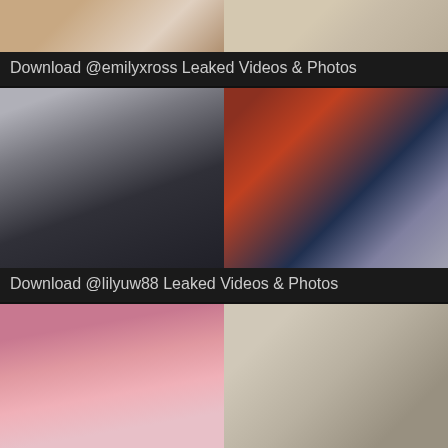[Figure (photo): Two thumbnail images side by side, partially cropped at top of page]
Download @emilyxross Leaked Videos & Photos
[Figure (photo): Two thumbnail images side by side: left shows person in black outfit in mirror selfie, right shows fantasy/game-style artwork of dark-haired woman]
Download @lilyuw88 Leaked Videos & Photos
[Figure (photo): Two thumbnail images: left shows young woman in pink outfit, right shows news article with mirror selfie photos]
Download @rachelrainy Leaked